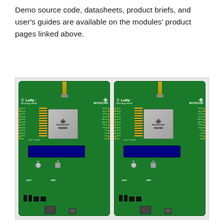Demo source code, datasheets, product briefs, and user's guides are available on the modules' product pages linked above.
[Figure (photo): Two Microchip LoRa Technology MOTE development boards side by side. Each board is green and features a LoRa logo, Microchip branding, a Microchip RN2903/RN2483 module chip, GPIO pin headers on both sides, an OLED display, two push buttons (S1, S2), light and temperature sensors, transistors, ICs, and a USB connector at the bottom. A gold SMA antenna connector is at the top of each board.]